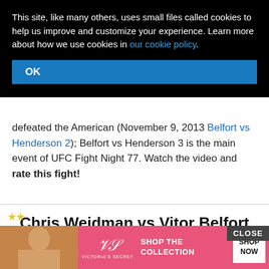This site, like many others, uses small files called cookies to help us improve and customize your experience. Learn more about how we use cookies in our cookie policy.
defeated the American (November 9, 2013 Belfort vs Henderson 2); Belfort vs Henderson 3 is the main event of UFC Fight Night 77. Watch the video and rate this fight!
Chris Weidman vs Vitor Belfort full fight Video UFC 187 – 2015
2015/05/24 by ATBF Editorial Board
[Figure (screenshot): Victoria's Secret advertisement banner with model photo, VS logo, SHOP THE COLLECTION text, and SHOP NOW button]